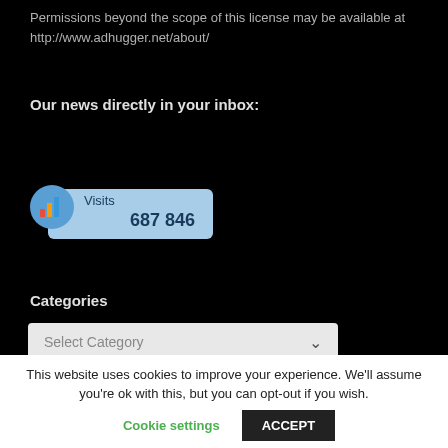Permissions beyond the scope of this license may be available at http://www.adhugger.net/about/
Our news directly in your inbox:
[Figure (infographic): Google Analytics-style widget showing 'Visits' count of 687 846 with a blue bar chart icon in a circle]
Categories
[Figure (screenshot): Select Category dropdown box]
This website uses cookies to improve your experience. We'll assume you're ok with this, but you can opt-out if you wish.
Cookie settings    ACCEPT